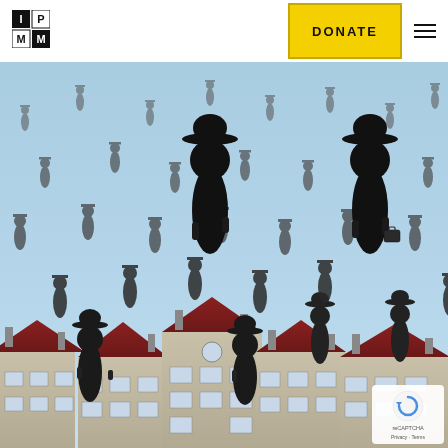[Figure (logo): IPMM logo: a 2x2 grid of squares with letters I, P, M, M in alternating black and white cells]
[Figure (other): Yellow DONATE button with bold uppercase text]
[Figure (other): Hamburger menu icon with three horizontal lines]
[Figure (illustration): Rene Magritte surrealist painting showing many men in dark suits and bowler hats floating or standing in a blue sky above buildings with red-tiled roofs — Golconde (1953)]